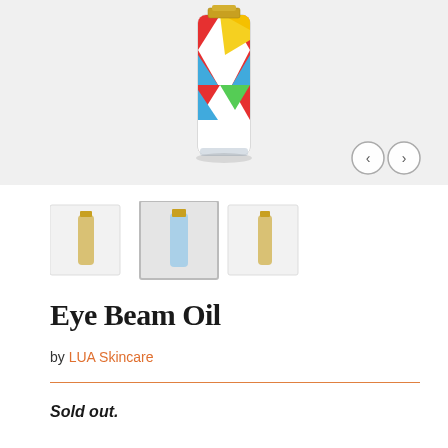[Figure (photo): Product photo of Eye Beam Oil bottle with colorful geometric pattern (rainbow colors - red, yellow, blue, green) on a light grey background, with navigation arrows (left and right) in the bottom right corner]
[Figure (photo): Three thumbnail images of the Eye Beam Oil product, the middle one selected/highlighted]
Eye Beam Oil
by LUA Skincare
Sold out.